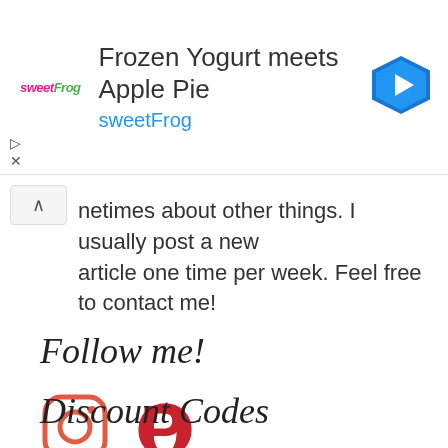[Figure (other): Advertisement banner for sweetFrog frozen yogurt with text 'Frozen Yogurt meets Apple Pie' and 'sweetFrog', including logo and navigation icon]
netimes about other things. I usually post a new article one time per week. Feel free to contact me!
Follow me!
[Figure (logo): Instagram logo icon (coral/red outlined camera)]
[Figure (logo): Pinterest logo icon (red P)]
Discount Codes